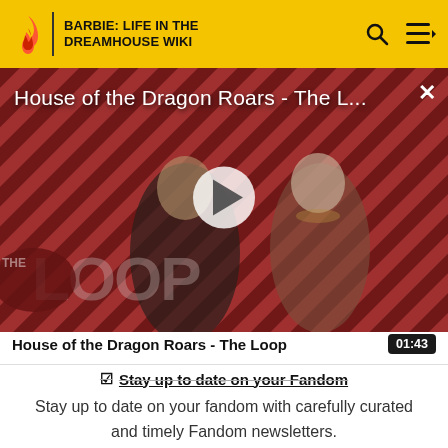BARBIE: LIFE IN THE DREAMHOUSE WIKI
[Figure (screenshot): Video player showing House of the Dragon Roars - The L... with a play button overlay, diagonal stripe background in red and dark colors, two characters visible, and THE LOOP branding at bottom left. Close button (X) at top right.]
House of the Dragon Roars - The Loop  01:43
Stay up to date on your Fandom
Stay up to date on your fandom with carefully curated and timely Fandom newsletters.